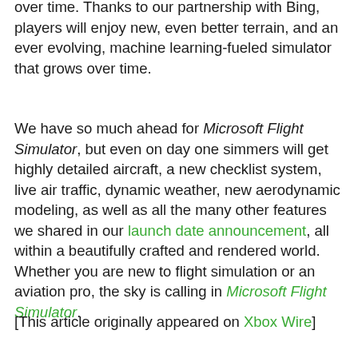over time. Thanks to our partnership with Bing, players will enjoy new, even better terrain, and an ever evolving, machine learning-fueled simulator that grows over time.
We have so much ahead for Microsoft Flight Simulator, but even on day one simmers will get highly detailed aircraft, a new checklist system, live air traffic, dynamic weather, new aerodynamic modeling, as well as all the many other features we shared in our launch date announcement, all within a beautifully crafted and rendered world. Whether you are new to flight simulation or an aviation pro, the sky is calling in Microsoft Flight Simulator.
[This article originally appeared on Xbox Wire]